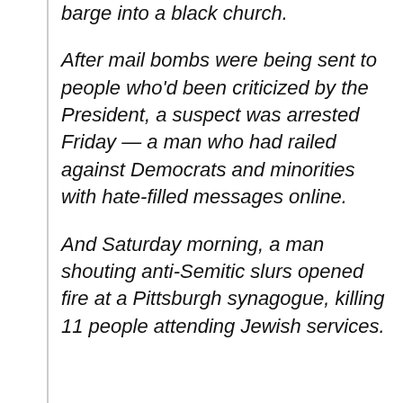barge into a black church.
After mail bombs were being sent to people who'd been criticized by the President, a suspect was arrested Friday — a man who had railed against Democrats and minorities with hate-filled messages online.
And Saturday morning, a man shouting anti-Semitic slurs opened fire at a Pittsburgh synagogue, killing 11 people attending Jewish services.